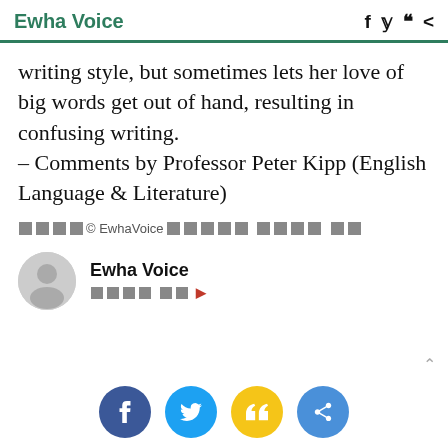Ewha Voice
writing style, but sometimes lets her love of big words get out of hand, resulting in confusing writing.
– Comments by Professor Peter Kipp (English Language & Literature)
[redacted] © EwhaVoice [redacted] [redacted]
Ewha Voice
[redacted] ▶